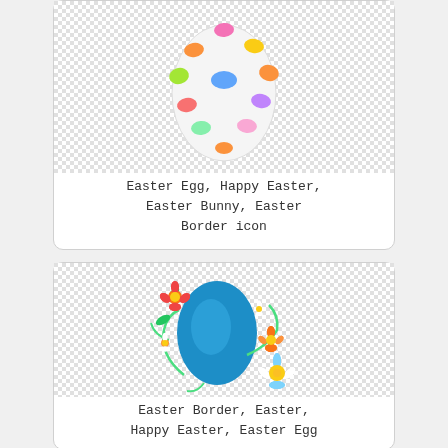[Figure (illustration): White Easter egg with colorful polka dots (pink, orange, yellow, green, blue, purple) on a checkered transparent background]
Easter Egg, Happy Easter, Easter Bunny, Easter Border icon
[Figure (illustration): Blue Easter egg decorated with green floral vines and colorful flowers (red, orange, white, blue) on a checkered transparent background]
Easter Border, Easter, Happy Easter, Easter Egg icon